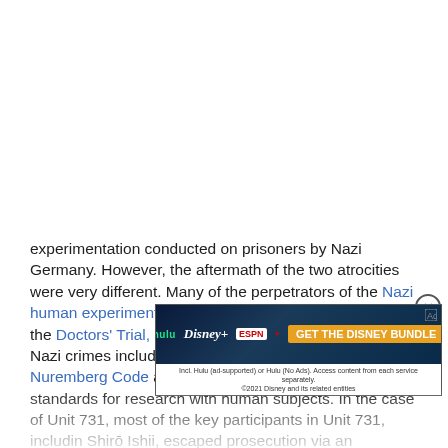experimentation conducted on prisoners by Nazi Germany. However, the aftermath of the two atrocities were very different. Many of the perpetrators of the Nazi human experimentation were tried by the United States in the Doctors' Trial, and the response to the unveiling of the Nazi crimes included the pivotal development of the Nuremberg Code and subsequently other sets of ethical standards for research with human subjects. In the case of Unit 731, most of the key participants in Unit 731, including Shirō Ishii, escaped prosecution via an agreement with the United States to provide their research findings. In addition, [text cut off by ad] public attention [cut off] Unit 731 were captured by the Soviet Union and subject to trials by
[Figure (other): Advertisement banner for Disney Bundle (Hulu, Disney+, ESPN+) with dark background and orange CTA button 'GET THE DISNEY BUNDLE'. Includes fine print about service terms.]